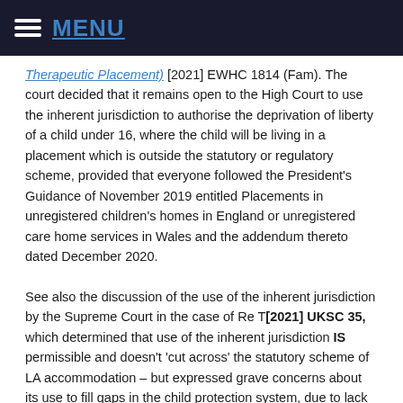MENU
Therapeutic Placement) [2021] EWHC 1814 (Fam). The court decided that it remains open to the High Court to use the inherent jurisdiction to authorise the deprivation of liberty of a child under 16, where the child will be living in a placement which is outside the statutory or regulatory scheme, provided that everyone followed the President's Guidance of November 2019 entitled Placements in unregistered children's homes in England or unregistered care home services in Wales and the addendum thereto dated December 2020.
See also the discussion of the use of the inherent jurisdiction by the Supreme Court in the case of Re T [2021] UKSC 35, which determined that use of the inherent jurisdiction IS permissible and doesn't 'cut across' the statutory scheme of LA accommodation – but expressed grave concerns about its use to fill gaps in the child protection system, due to lack of resources. The child's consent or lack of it did not determine